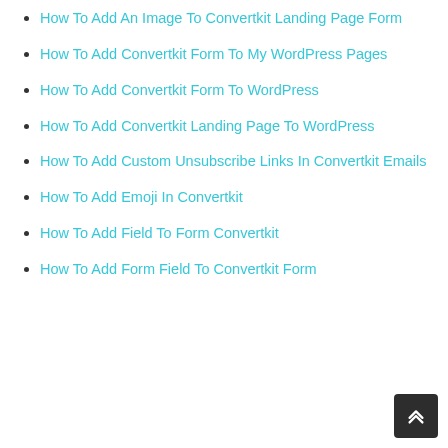How To Add An Image To Convertkit Landing Page Form
How To Add Convertkit Form To My WordPress Pages
How To Add Convertkit Form To WordPress
How To Add Convertkit Landing Page To WordPress
How To Add Custom Unsubscribe Links In Convertkit Emails
How To Add Emoji In Convertkit
How To Add Field To Form Convertkit
How To Add Form Field To Convertkit Form